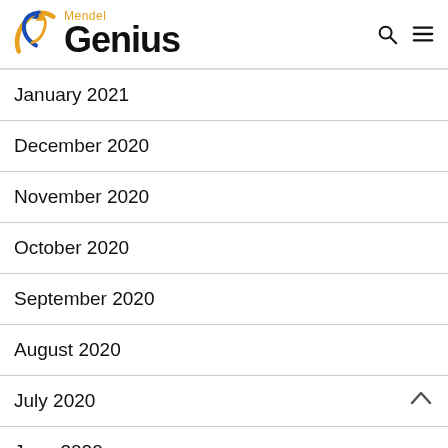Mendel Genius
January 2021
December 2020
November 2020
October 2020
September 2020
August 2020
July 2020
June 2020